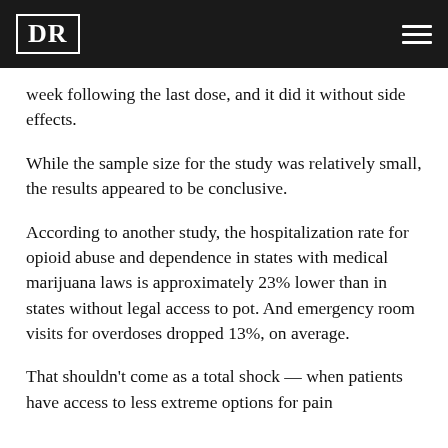DR
week following the last dose, and it did it without side effects.
While the sample size for the study was relatively small, the results appeared to be conclusive.
According to another study, the hospitalization rate for opioid abuse and dependence in states with medical marijuana laws is approximately 23% lower than in states without legal access to pot. And emergency room visits for overdoses dropped 13%, on average.
That shouldn’t come as a total shock — when patients have access to less extreme options for pain